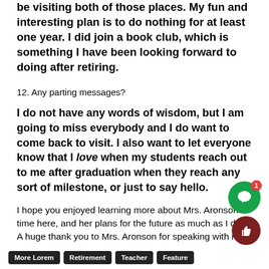be visiting both of those places. My fun and interesting plan is to do nothing for at least one year. I did join a book club, which is something I have been looking forward to doing after retiring.
12. Any parting messages?
I do not have any words of wisdom, but I am going to miss everybody and I do want to come back to visit. I also want to let everyone know that I love when my students reach out to me after graduation when they reach any sort of milestone, or just to say hello.
I hope you enjoyed learning more about Mrs. Aronson's time here, and her plans for the future as much as I did. A huge thank you to Mrs. Aronson for speaking with me, you're going to be missed by so many!